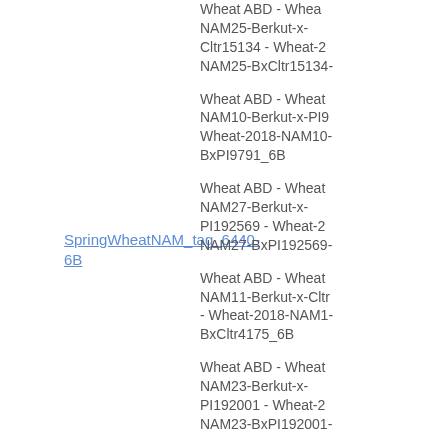SpringWheatNAM_tag_6440-6B
locus  0
Wheat ABD - Wheat NAM25-Berkut-x-Cltr15134 - Wheat-2018-NAM25-BxCltr15134-
Wheat ABD - Wheat NAM10-Berkut-x-PI9 Wheat-2018-NAM10-BxPI9791_6B
Wheat ABD - Wheat NAM27-Berkut-x-PI192569 - Wheat-2018-NAM27-BxPI192569-
Wheat ABD - Wheat NAM11-Berkut-x-Cltr - Wheat-2018-NAM1-BxCltr4175_6B
Wheat ABD - Wheat NAM23-Berkut-x-PI192001 - Wheat-2018-NAM23-BxPI192001-
Wheat ABD - Wheat NAM10-Berkut-x-PI9 Wheat-2018-NAM10-BxPI9791_6B
Wheat ABD - Wheat NAM15-Berkut-x-Cltr - Wheat-2018-NAM-